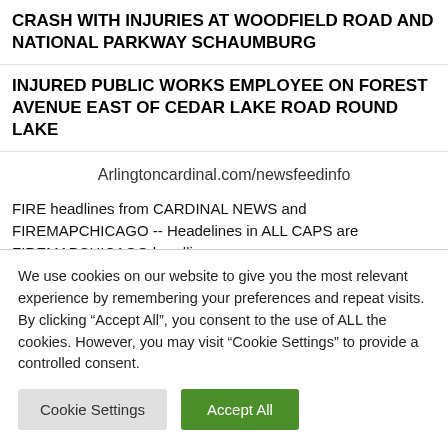CRASH WITH INJURIES AT WOODFIELD ROAD AND NATIONAL PARKWAY SCHAUMBURG
INJURED PUBLIC WORKS EMPLOYEE ON FOREST AVENUE EAST OF CEDAR LAKE ROAD ROUND LAKE
Arlingtoncardinal.com/newsfeedinfo
FIRE headlines from CARDINAL NEWS and FIREMAPCHICAGO -- Headelines in ALL CAPS are FIREMAPCHICAGO headlines.
- - - - - - - - - - - - - - - - - - - - - - - -
We use cookies on our website to give you the most relevant experience by remembering your preferences and repeat visits. By clicking “Accept All”, you consent to the use of ALL the cookies. However, you may visit "Cookie Settings" to provide a controlled consent.